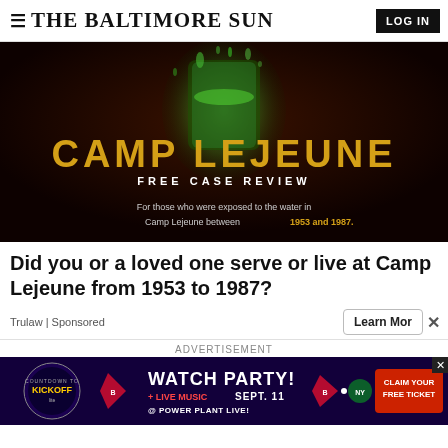≡ THE BALTIMORE SUN  LOG IN
[Figure (illustration): Advertisement banner for Camp Lejeune Free Case Review. Dark reddish-black background with a green glowing water glass splash. Large gold/yellow text reads CAMP LEJEUNE. Below it: FREE CASE REVIEW. At bottom: For those who were exposed to the water in Camp Lejeune between 1953 and 1987.]
Did you or a loved one serve or live at Camp Lejeune from 1953 to 1987?
Trulaw | Sponsored
Learn More
ADVERTISEMENT
[Figure (illustration): Advertisement banner on dark purple background. Baltimore Ravens logo on left with 'COUNTDOWN TO KICKOFF' text. Large text: WATCH PARTY! + LIVE MUSIC SEPT. 11 @ POWER PLANT LIVE! On right side: CLAIM YOUR FREE TICKET button in orange/red. Jets logo visible in middle.]